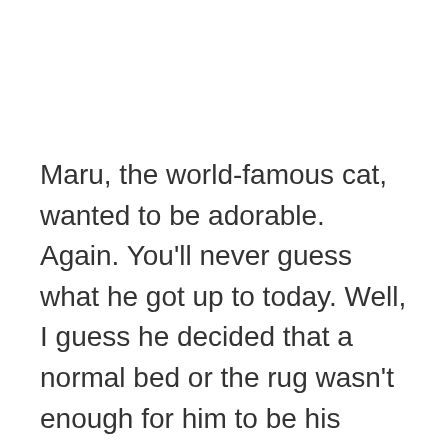Maru, the world-famous cat, wanted to be adorable. Again. You'll never guess what he got up to today. Well, I guess he decided that a normal bed or the rug wasn't enough for him to be his adorable self. He decided that a tiny glass mixing bowl would make the perfect cozy resting spot, and that is exactly what he attempted to fit into.
In this video, Maru stuffs himself into a glass bowl. I thought it wasn't possible until I saw the video for myself. I couldn't believe my eyes! It is hilarious the